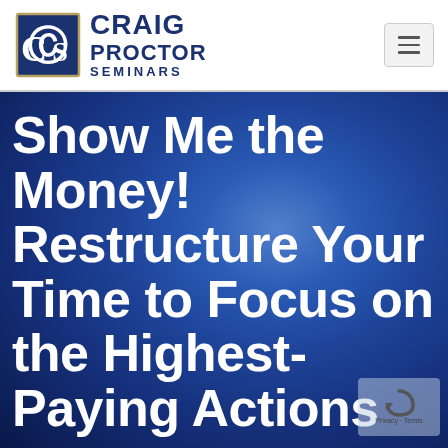[Figure (logo): Craig Proctor Seminars logo with blue 'CS' monogram icon and text CRAIG PROCTOR SEMINARS]
[Figure (other): Hamburger menu button (three horizontal lines) in top right corner]
Show Me the Money! Restructure Your Time to Focus on the Highest-Paying Actions